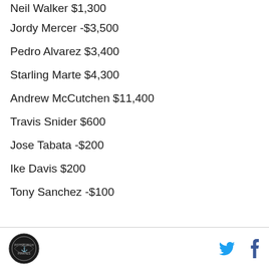Neil Walker $1,300
Jordy Mercer -$3,500
Pedro Alvarez $3,400
Starling Marte $4,300
Andrew McCutchen $11,400
Travis Snider $600
Jose Tabata -$200
Ike Davis $200
Tony Sanchez -$100
Logo | Twitter | Facebook